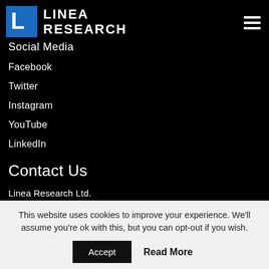[Figure (logo): Linea Research logo: blue square with white L-shape icon and white text LINEA RESEARCH]
Social Media
Facebook
Twitter
Instagram
YouTube
LinkedIn
Contact Us
Linea Research Ltd.
Units 1 & 2 Aylesford Court
Works Road
Letchworth Garden City
Hertfordshire
This website uses cookies to improve your experience. We'll assume you're ok with this, but you can opt-out if you wish.
Accept  Read More